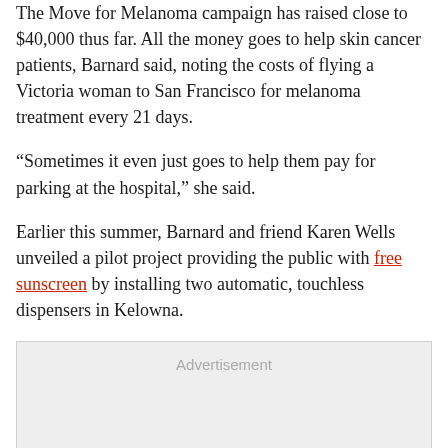The Move for Melanoma campaign has raised close to $40,000 thus far. All the money goes to help skin cancer patients, Barnard said, noting the costs of flying a Victoria woman to San Francisco for melanoma treatment every 21 days.
“Sometimes it even just goes to help them pay for parking at the hospital,” she said.
Earlier this summer, Barnard and friend Karen Wells unveiled a pilot project providing the public with free sunscreen by installing two automatic, touchless dispensers in Kelowna.
[Figure (other): Advertisement placeholder box with grey background]